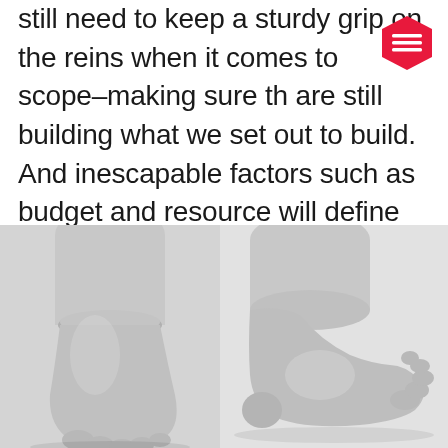still need to keep a sturdy grip on the reins when it comes to scope–making sure they are still building what we set out to build. And inescapable factors such as budget and resource will define the parameters within which we have flexibility.
[Figure (photo): Black and white photograph of two baby feet, one facing forward on the left and one viewed from the side on the right, on a white background.]